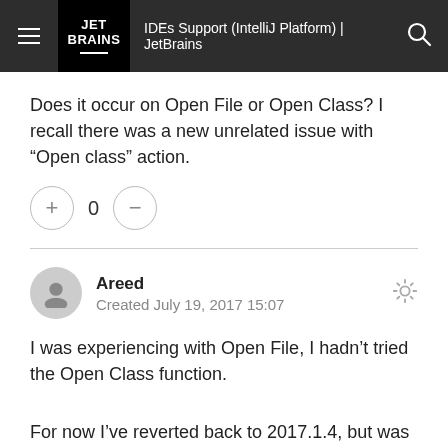IDEs Support (IntelliJ Platform) | JetBrains
Does it occur on Open File or Open Class? I recall there was a new unrelated issue with “Open class” action.
0
Areed
Created July 19, 2017 15:07
I was experiencing with Open File, I hadn't tried the Open Class function.
For now I’ve reverted back to 2017.1.4, but was curious why it had started occurring again.